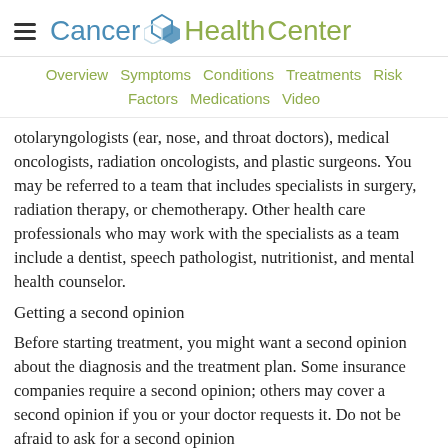Cancer HealthCenter
Overview  Symptoms  Conditions  Treatments  Risk Factors  Medications  Video
otolaryngologists (ear, nose, and throat doctors), medical oncologists, radiation oncologists, and plastic surgeons. You may be referred to a team that includes specialists in surgery, radiation therapy, or chemotherapy. Other health care professionals who may work with the specialists as a team include a dentist, speech pathologist, nutritionist, and mental health counselor.
Getting a second opinion
Before starting treatment, you might want a second opinion about the diagnosis and the treatment plan. Some insurance companies require a second opinion; others may cover a second opinion if you or your doctor requests it. Do not be afraid to ask for a second opinion